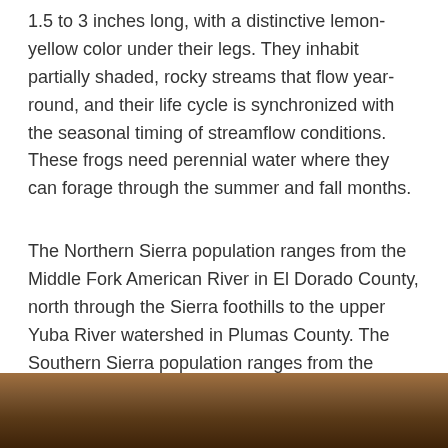1.5 to 3 inches long, with a distinctive lemon-yellow color under their legs. They inhabit partially shaded, rocky streams that flow year-round, and their life cycle is synchronized with the seasonal timing of streamflow conditions. These frogs need perennial water where they can forage through the summer and fall months.
The Northern Sierra population ranges from the Middle Fork American River in El Dorado County, north through the Sierra foothills to the upper Yuba River watershed in Plumas County. The Southern Sierra population ranges from the South Fork American River watershed, south through the Sierra foothills to the Tehachapi Mountains. The genetically unique Feather River population is primarily in Plumas and Butte counties.
[Figure (photo): Partial photo of a rocky/earthy brownish terrain, cropped at bottom of page]